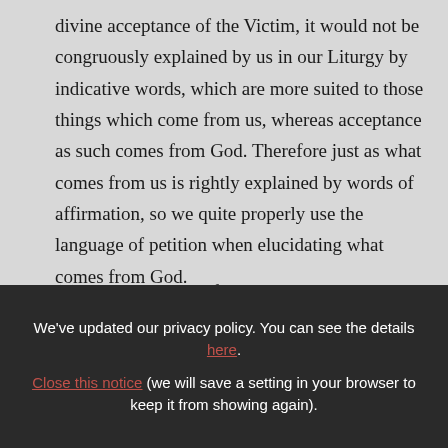divine acceptance of the Victim, it would not be congruously explained by us in our Liturgy by indicative words, which are more suited to those things which come from us, whereas acceptance as such comes from God. Therefore just as what comes from us is rightly explained by words of affirmation, so we quite properly use the language of petition when elucidating what comes from God.
(ii) The Invocation of the Divinity is
We've updated our privacy policy. You can see the details here.
Close this notice (we will save a setting in your browser to keep it from showing again).